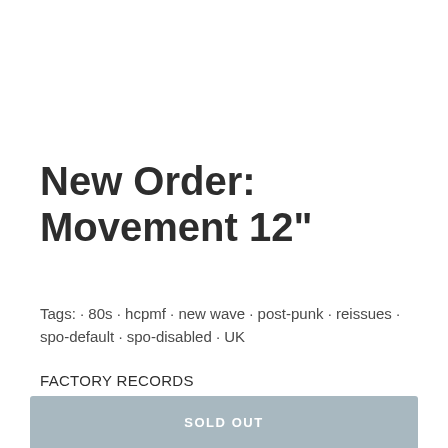New Order: Movement 12"
Tags: · 80s · hcpmf · new wave · post-punk · reissues · spo-default · spo-disabled · UK
FACTORY RECORDS
Sold out
SOLD OUT